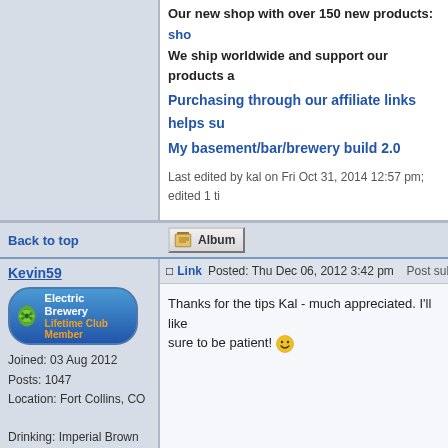Our new shop with over 150 new products: sho… We ship worldwide and support our products a…
Purchasing through our affiliate links helps su…
My basement/bar/brewery build 2.0
Last edited by kal on Fri Oct 31, 2014 12:57 pm; edited 1 ti…
Back to top
Kevin59
Link  Posted: Thu Dec 06, 2012 3:42 pm  Post subject:…
[Figure (logo): Electric Brewery Lifetime Club Member badge with hop icon]
Joined: 03 Aug 2012
Posts: 1047
Location: Fort Collins, CO

Drinking: Imperial Brown Ale

Working on: Oatmeal Stout, IPA
offline
Thanks for the tips Kal - much appreciated. I'll like… sure to be patient! 😀
Back to top
Castermmt
Link  Posted: Sat Dec 29, 2012 5:52 pm  Post subject:…
[Figure (logo): Electric Brewery Lifetime Club Member badge with hop icon]
I'm brewing this today for the second time using W… on this beer all summer and when I got back from…